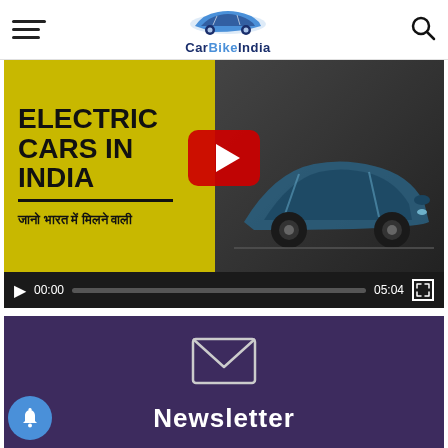CarBikeIndia
[Figure (screenshot): Video player showing 'Electric Cars in India' YouTube video thumbnail with Hindi subtitle text 'जानो भारत में मिलने वाली', showing a teal electric car. Controls show 00:00 / 05:04.]
[Figure (screenshot): Newsletter signup section with envelope icon on purple background, partially showing 'Newsletter' title text.]